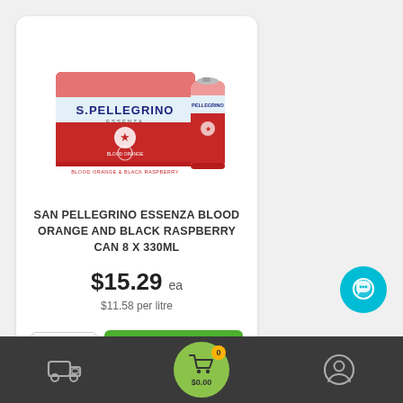[Figure (photo): S.Pellegrino Essenza Blood Orange and Black Raspberry canned drinks multipack box with individual can]
SAN PELLEGRINO ESSENZA BLOOD ORANGE AND BLACK RASPBERRY CAN 8 X 330ML
$15.29 ea
$11.58 per litre
1  ADD TO CART
[Figure (illustration): Teal chat/message bubble icon button]
[Figure (illustration): Dark bottom navigation bar with delivery truck icon, green cart circle showing 0 items and $0.00, and user profile icon]